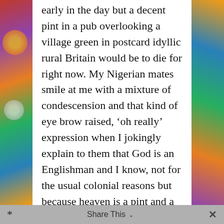early in the day but a decent pint in a pub overlooking a village green in postcard idyllic rural Britain would be to die for right now. My Nigerian mates smile at me with a mixture of condescension and that kind of eye brow raised, 'oh really' expression when I jokingly explain to them that God is an Englishman and I know, not for the usual colonial reasons but because heaven is a pint and a ploughman's in a pub garden where you can hear the sound of leather on willow from the village cricket square.
* Share This ∨ ×